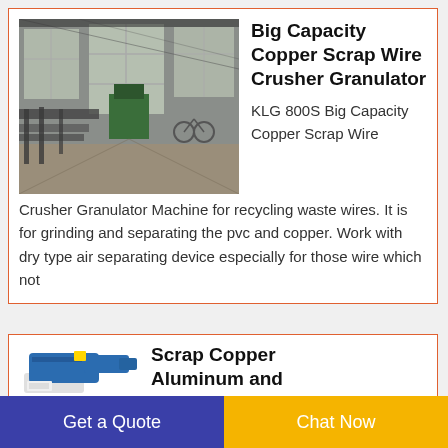[Figure (photo): Interior of an industrial factory or warehouse with machinery, metal frames, and large windows letting in natural light. Green machinery visible in the background.]
Big Capacity Copper Scrap Wire Crusher Granulator
KLG 800S Big Capacity Copper Scrap Wire Crusher Granulator Machine for recycling waste wires. It is for grinding and separating the pvc and copper. Work with dry type air separating device especially for those wire which not
[Figure (photo): Blue industrial machine, appears to be a scrap copper aluminum separator or granulator unit.]
Scrap Copper Aluminum and
Get a Quote
Chat Now